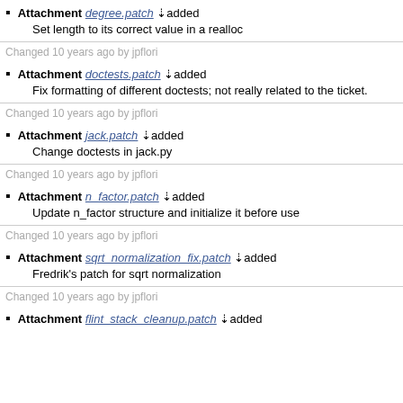Attachment degree.patch added
Set length to its correct value in a realloc
Changed 10 years ago by jpflori
Attachment doctests.patch added
Fix formatting of different doctests; not really related to the ticket.
Changed 10 years ago by jpflori
Attachment jack.patch added
Change doctests in jack.py
Changed 10 years ago by jpflori
Attachment n_factor.patch added
Update n_factor structure and initialize it before use
Changed 10 years ago by jpflori
Attachment sqrt_normalization_fix.patch added
Fredrik's patch for sqrt normalization
Changed 10 years ago by jpflori
Attachment flint_stack_cleanup.patch added